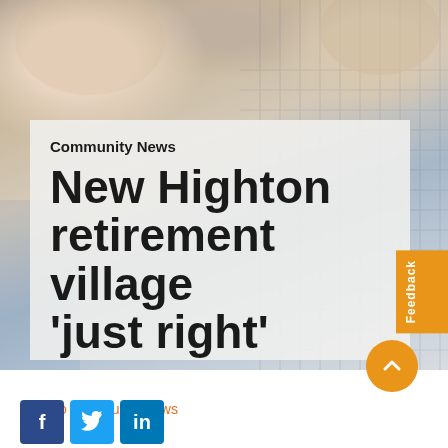[Figure (photo): Photo of two elderly people smiling, one wearing a plaid/checkered shirt, in an indoor setting]
Community News
New Highton retirement village 'just right'
Back to Community news
[Figure (other): Scroll-to-top orange circular button with upward chevron arrow]
[Figure (other): Social media sharing icons: Facebook (f), Twitter (bird), LinkedIn (in)]